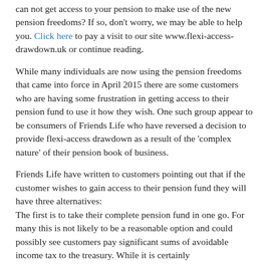can not get access to your pension to make use of the new pension freedoms? If so, don't worry, we may be able to help you. Click here to pay a visit to our site www.flexi-access-drawdown.uk or continue reading.
While many individuals are now using the pension freedoms that came into force in April 2015 there are some customers who are having some frustration in getting access to their pension fund to use it how they wish. One such group appear to be consumers of Friends Life who have reversed a decision to provide flexi-access drawdown as a result of the 'complex nature' of their pension book of business.
Friends Life have written to customers pointing out that if the customer wishes to gain access to their pension fund they will have three alternatives: The first is to take their complete pension fund in one go. For many this is not likely to be a reasonable option and could possibly see customers pay significant sums of avoidable income tax to the treasury. While it is certainly